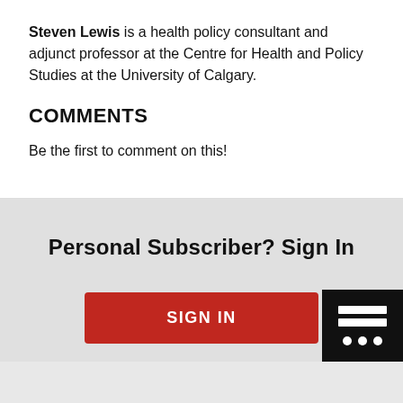Steven Lewis is a health policy consultant and adjunct professor at the Centre for Health and Policy Studies at the University of Calgary.
COMMENTS
Be the first to comment on this!
Personal Subscriber? Sign In
SIGN IN
[Figure (other): Black box with a chat/document icon showing three horizontal lines and three dots]